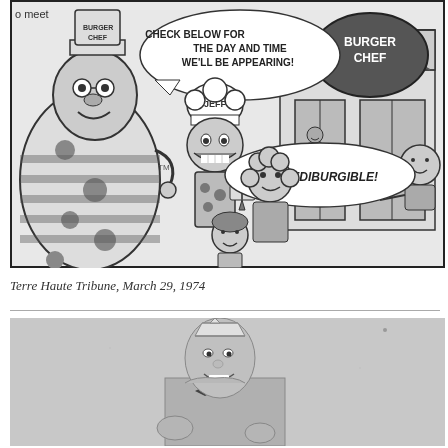[Figure (illustration): Black and white comic strip showing Burger Chef and Jeff characters in front of a Burger Chef restaurant. Burger Chef character wears a polka dot costume and chef hat labeled 'BURGER CHEF'. A speech bubble reads 'CHECK BELOW FOR THE DAY AND TIME WE'LL BE APPEARING!' Jeff character wears a chef hat labeled 'JEFF'. A speech bubble reads 'INCREDIBURGIBLE!' Several children and a Burger Chef mascot figurine are visible. Partial text 'o meet' visible top left.]
Terre Haute Tribune, March 29, 1974
[Figure (photo): Black and white photograph of a man wearing a Burger Chef uniform including a paper cap and bow tie, smiling at the camera. The photo is cropped showing him from roughly the waist up.]